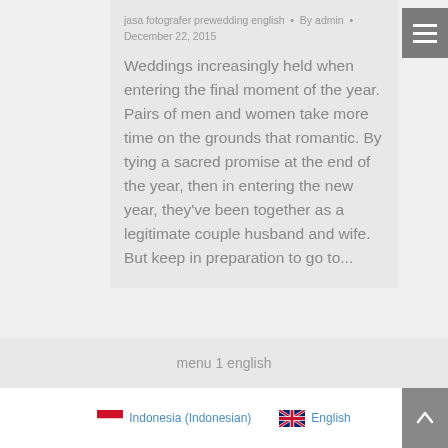jasa fotografer prewedding english • By admin • December 22, 2015
Weddings increasingly held when entering the final moment of the year. Pairs of men and women take more time on the grounds that romantic. By tying a sacred promise at the end of the year, then in entering the new year, they've been together as a legitimate couple husband and wife. But keep in preparation to go to...
menu 1 english
Indonesia (Indonesian)   English